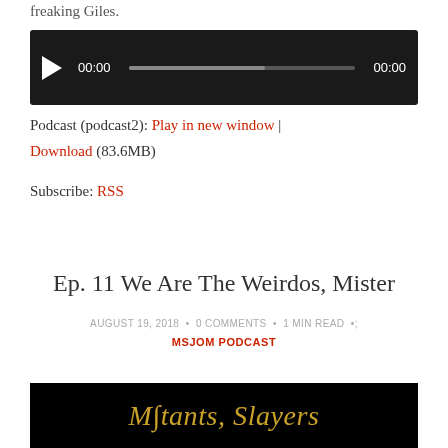freaking Giles.
[Figure (screenshot): Audio player widget with dark background, play button, time display showing 00:00 on both sides, and a progress bar.]
Podcast (podcast2): Play in new window | Download (83.6MB)
Subscribe: RSS
Ep. 11 We Are The Weirdos, Mister
AUGUST 19, 2018 • 0 COMMENTS • 1 MIN READ • MSJOM PODCAST
[Figure (logo): Black banner with golden italic text reading 'Mutants, Slayers']